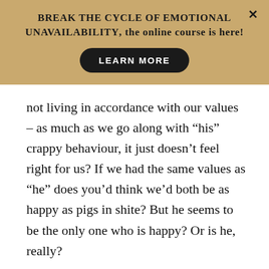BREAK THE CYCLE OF EMOTIONAL UNAVAILABILITY, the online course is here!
LEARN MORE
not living in accordance with our values – as much as we go along with “his” crappy behaviour, it just doesn’t feel right for us? If we had the same values as “he” does you’d think we’d both be as happy as pigs in shite? But he seems to be the only one who is happy? Or is he, really?